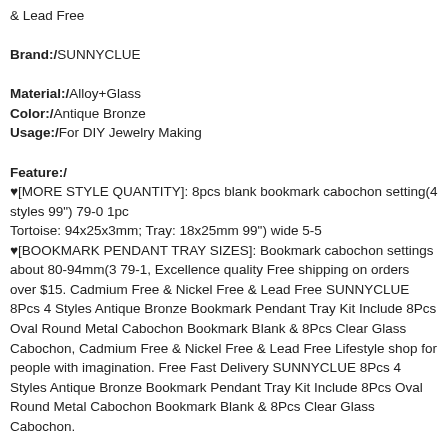& Lead Free Brand:/ SUNNYCLUE Material:/ Alloy+Glass Color:/ Antique Bronze Usage:/ For DIY Jewelry Making Feature:/ ♥[MORE STYLE QUANTITY]: 8pcs blank bookmark cabochon setting(4 styles 99") 79-0 1pc Tortoise: 94x25x3mm; Tray: 18x25mm 99") wide 5-5  ♥[BOOKMARK PENDANT TRAY SIZES]: Bookmark cabochon settings about 80-94mm(3 79-1, Excellence quality Free shipping on orders over $15. Cadmium Free & Nickel Free & Lead Free SUNNYCLUE 8Pcs 4 Styles Antique Bronze Bookmark Pendant Tray Kit Include 8Pcs Oval Round Metal Cabochon Bookmark Blank & 8Pcs Clear Glass Cabochon, Cadmium Free & Nickel Free & Lead Free Lifestyle shop for people with imagination. Free Fast Delivery SUNNYCLUE 8Pcs 4 Styles Antique Bronze Bookmark Pendant Tray Kit Include 8Pcs Oval Round Metal Cabochon Bookmark Blank & 8Pcs Clear Glass Cabochon.
Home
Home & Kitchen
Arts & Crafts
Beading & Jewellery-Making
Jewellery-Making Kits
Cadmium Free & Nickel Free & Lead Free SUNNYCLUE 8Pcs 4 Styles Antique Bronze Bookmark Pendant Tray Kit Include 8Pcs